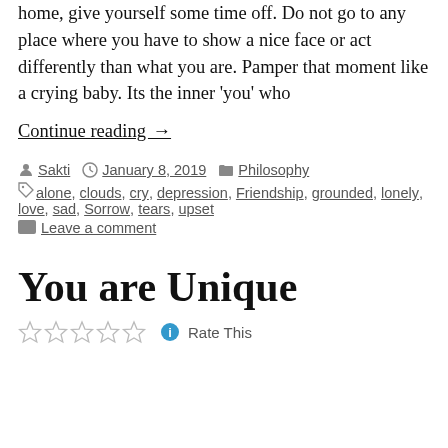home, give yourself some time off. Do not go to any place where you have to show a nice face or act differently than what you are. Pamper that moment like a crying baby. Its the inner 'you' who
Continue reading →
Posted by Sakti  January 8, 2019  Philosophy
Tags: alone, clouds, cry, depression, Friendship, grounded, lonely, love, sad, Sorrow, tears, upset
Leave a comment
You are Unique
Rate This